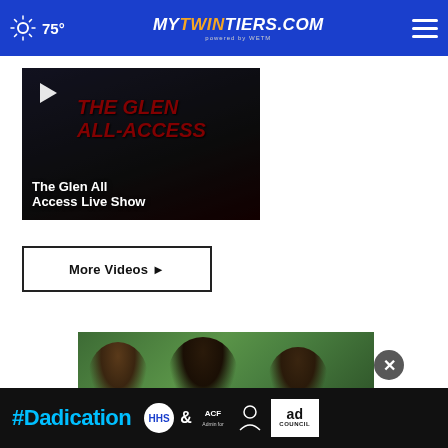75° MyTwinTiers.com powered by WETM
[Figure (screenshot): Video thumbnail with play button showing 'The Glen All Access Live Show' title over dark background with red stylized text]
The Glen All Access Live Show
More Videos ▶
[Figure (photo): Photo of smiling young people outdoors with green trees in background, partially cut off]
[Figure (infographic): #Dadication ad banner with HHS, ACF, and Ad Council logos on dark background]